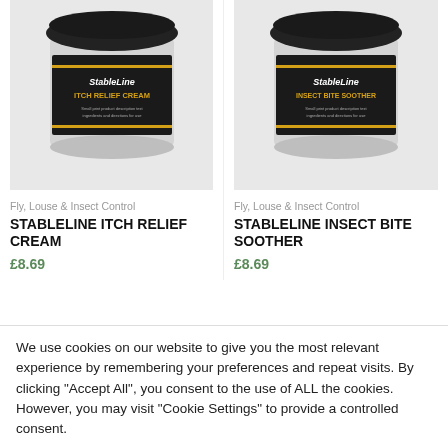[Figure (photo): StableLine Itch Relief Cream product jar with black lid and dark label]
Fly, Louse & Insect Control
STABLELINE ITCH RELIEF CREAM
£8.69
[Figure (photo): StableLine Insect Bite Soother product jar with black lid and dark label]
Fly, Louse & Insect Control
STABLELINE INSECT BITE SOOTHER
£8.69
We use cookies on our website to give you the most relevant experience by remembering your preferences and repeat visits. By clicking "Accept All", you consent to the use of ALL the cookies. However, you may visit "Cookie Settings" to provide a controlled consent.